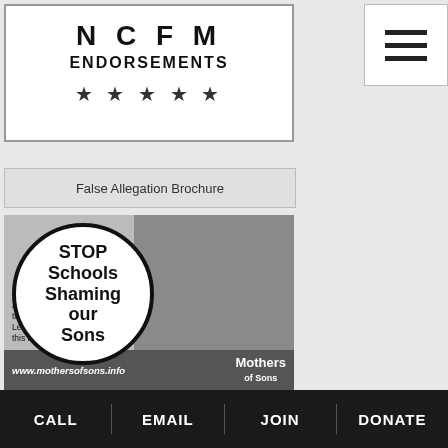NCFM ENDORSEMENTS ★★★★★
[Figure (screenshot): Hamburger menu icon (three horizontal lines) in top right corner]
False Allegation Brochure
[Figure (photo): Black and white photo of a young boy with glasses wearing a vest, holding a circular sign that reads STOP Schools Shaming our Sons. Below the sign text reads: Are your boys being shamed in their school? Let MOS alert the media to stop this happening. www.mothersofsons.info with Mothers of Sons logo.]
CALL  EMAIL  JOIN  DONATE